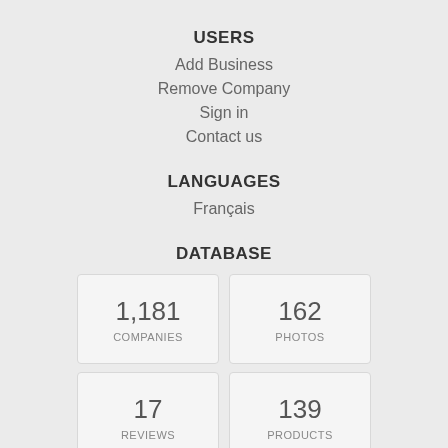USERS
Add Business
Remove Company
Sign in
Contact us
LANGUAGES
Français
DATABASE
| Metric | Value |
| --- | --- |
| COMPANIES | 1,181 |
| PHOTOS | 162 |
| REVIEWS | 17 |
| PRODUCTS | 139 |